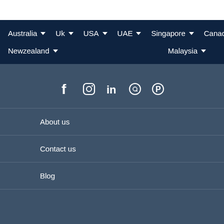Australia | Uk | USA | UAE | Singapore | Canada | Newzealand | Malaysia
[Figure (infographic): Social media icons: Facebook, Instagram, LinkedIn, WhatsApp, Pinterest]
About us
Contact us
Blog